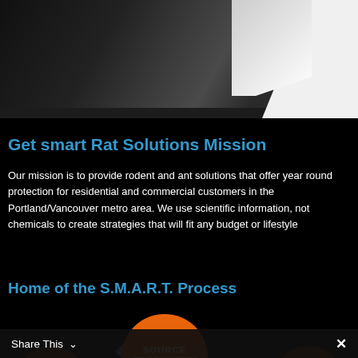[Figure (photo): Dark interior ceiling/architectural photo with dark wood paneling and a white diagonal section visible at the right]
Get smart Rat Solutions Mission
Our mission is to provide rodent and ant solutions that offer year round protection for residential and commercial customers in the Portland/Vancouver metro area. We use scientific information, not chemicals to create strategies that will fit any budget or lifestyle
Home of the S.M.A.R.T. Process
[Figure (infographic): Orange circle with SOURCE label and text 'Identify the source of infestation' inside, part of the S.M.A.R.T. Process diagram]
Share This ∨